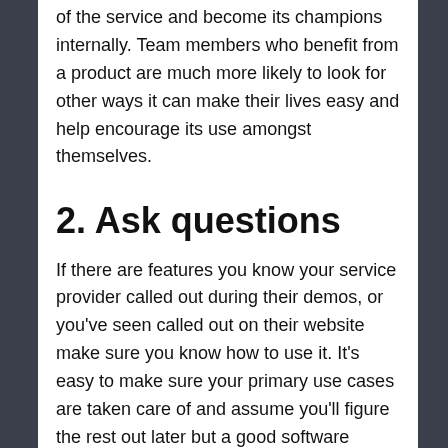of the service and become its champions internally. Team members who benefit from a product are much more likely to look for other ways it can make their lives easy and help encourage its use amongst themselves.
2. Ask questions
If there are features you know your service provider called out during their demos, or you've seen called out on their website make sure you know how to use it. It's easy to make sure your primary use cases are taken care of and assume you'll figure the rest out later but a good software partner is invested in making sure you can take full advantage of their product and excited to drive your success. More often than not they